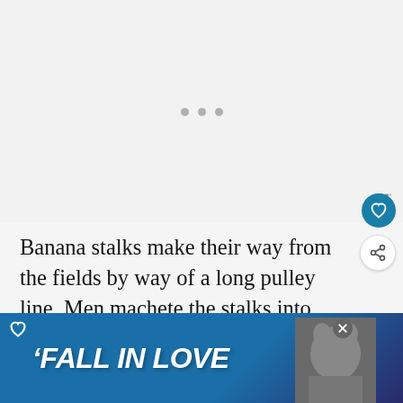[Figure (other): Gray placeholder area with three loading dots indicating an image is loading]
Banana stalks make their way from the fields by way of a long pulley line. Men machete the stalks into smaller bunches and women pull the reject bananas and wash the rest. Aft...
[Figure (other): Advertisement banner reading FALL IN LOVE with a dog image, partially overlaying the main text]